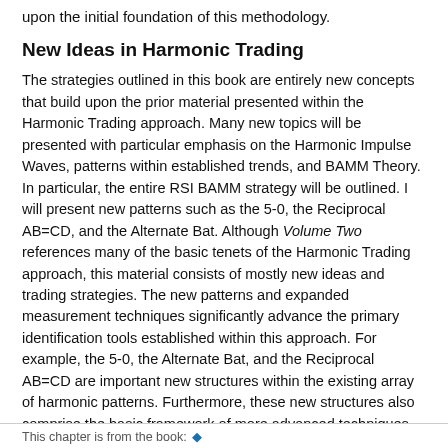upon the initial foundation of this methodology.
New Ideas in Harmonic Trading
The strategies outlined in this book are entirely new concepts that build upon the prior material presented within the Harmonic Trading approach. Many new topics will be presented with particular emphasis on the Harmonic Impulse Waves, patterns within established trends, and BAMM Theory. In particular, the entire RSI BAMM strategy will be outlined. I will present new patterns such as the 5-0, the Reciprocal AB=CD, and the Alternate Bat. Although Volume Two references many of the basic tenets of the Harmonic Trading approach, this material consists of mostly new ideas and trading strategies. The new patterns and expanded measurement techniques significantly advance the primary identification tools established within this approach. For example, the 5-0, the Alternate Bat, and the Reciprocal AB=CD are important new structures within the existing array of harmonic patterns. Furthermore, these new structures also comprise the basic framework of more advanced techniques. Hence, Volume Two represents a significant evolutionary step and an essential new direction that enhances the existing methodology immensely.
This chapter is from the book: